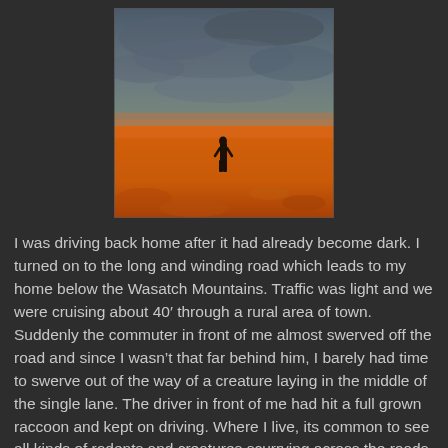[Figure (photo): A lone figure standing on an orange/amber desert landscape under a dark stormy grey sky, dramatic atmospheric photo]
I was driving back home after it had already become dark. I turned on to the long and winding road which leads to my home below the Wasatch Mountains. Traffic was light and we were cruising about 40' through a rural area of town.
Suddenly the commuter in front of me almost swerved off the road and since I wasn't that far behind him, I barely had time to swerve out of the way of a creature laying in the middle of the single lane. The driver in front of me had hit a full grown raccoon and kept on driving. Where I live, its common to see all kinds of rodents and creatures scurrying across the roads.